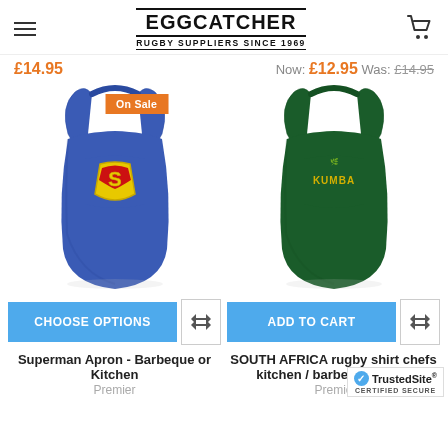EGGCATCHER RUGBY SUPPLIERS SINCE 1969
£14.95
Now: £12.95  Was: £14.95
[Figure (photo): Blue Superman apron with Superman logo, with 'On Sale' badge]
[Figure (photo): Dark green South Africa rugby shirt kitchen/barbeque apron]
CHOOSE OPTIONS
ADD TO CART
Superman Apron - Barbeque or Kitchen
SOUTH AFRICA rugby shirt chefs kitchen / barbeque apron
Premier
Premier
[Figure (logo): TrustedSite Certified Secure badge]